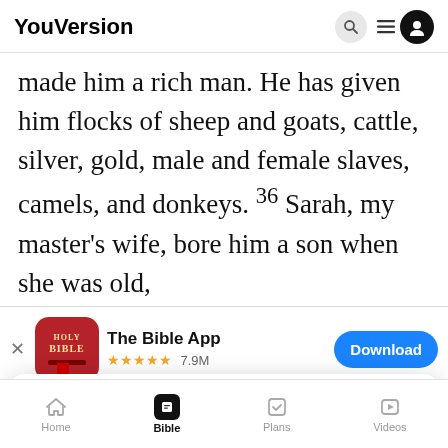YouVersion
made him a rich man. He has given him flocks of sheep and goats, cattle, silver, gold, male and female slaves, camels, and donkeys. 36 Sarah, my master's wife, bore him a son when she was old,
[Figure (screenshot): App download banner for The Bible App with red Holy Bible icon, 5-star rating 7.9M, and blue Download button]
his command. He said, 'Do not choose for my s... Canaan...
[Figure (screenshot): Cookie consent popup: YouVersion uses cookies to personalize your experience. By using our website, you accept our use of cookies as described in our Privacy Policy. OK button.]
Home  Bible  Plans  Videos